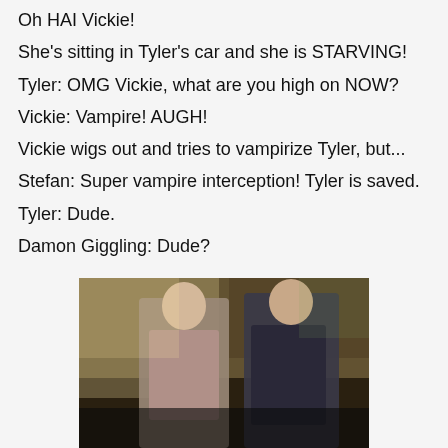Oh HAI Vickie!
She's sitting in Tyler's car and she is STARVING!
Tyler: OMG Vickie, what are you high on NOW?
Vickie: Vampire! AUGH!
Vickie wigs out and tries to vampirize Tyler, but...
Stefan: Super vampire interception! Tyler is saved.
Tyler: Dude.
Damon Giggling: Dude?
[Figure (photo): Two young men standing indoors in a dimly lit, rustic setting. The man on the left wears a light-colored shirt, the man on the right wears a dark shirt. Appears to be a scene from a TV show (The Vampire Diaries).]